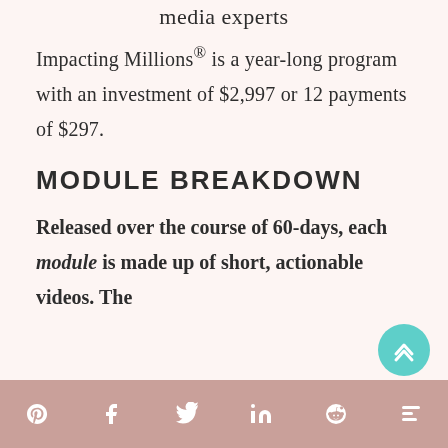media experts
Impacting Millions® is a year-long program with an investment of $2,997 or 12 payments of $297.
MODULE BREAKDOWN
Released over the course of 60-days, each module is made up of short, actionable videos. The
Social share icons: Pinterest, Facebook, Twitter, LinkedIn, Reddit, Mix